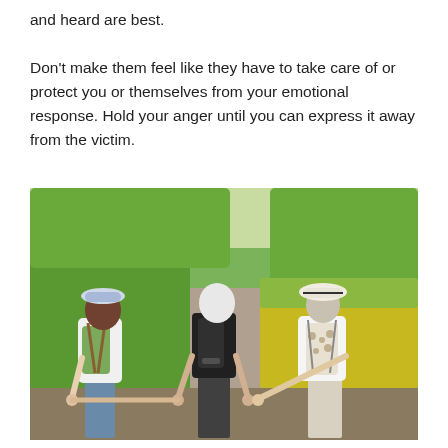and heard are best.

Don't make them feel like they have to take care of or protect you or themselves from your emotional response. Hold your anger until you can express it away from the victim.
[Figure (photo): Three older women seen from behind, walking hand-in-hand along a path surrounded by green trees and yellow wildflowers. Each woman carries a backpack and wears a hat. The woman on the left has a blue and white striped hat and a green backpack, the woman in the middle has short white hair and a black backpack, and the woman on the right wears a white hat and a patterned drawstring bag.]